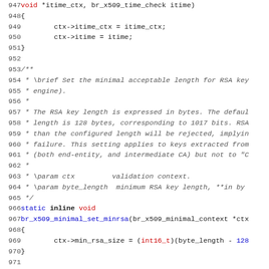Code listing lines 947-978, C source code with comments and function definitions for br_x509 minimal context functions
947: void *itime_ctx, br_x509_time_check itime)
948: {
949:     ctx->itime_ctx = itime_ctx;
950:     ctx->itime = itime;
951: }
952:
953: /**
954:  * \brief Set the minimal acceptable length for RSA key
955:  * engine).
956:  *
957:  * The RSA key length is expressed in bytes. The defaul
958:  * length is 128 bytes, corresponding to 1017 bits. RSA
959:  * than the configured length will be rejected, implyin
960:  * failure. This setting applies to keys extracted from
961:  * (both end-entity, and intermediate CA) but not to "C
962:  *
963:  * \param ctx        validation context.
964:  * \param byte_length  minimum RSA key length, **in by
965:  */
966: static inline void
967: br_x509_minimal_set_minrsa(br_x509_minimal_context *ctx
968: {
969:     ctx->min_rsa_size = (int16_t)(byte_length - 128
970: }
971:
972: /**
973:  * \brief Set the name elements to gather.
974:  *
975:  * The provided array is linked in the context. The ele
976:  * gathered from the EE certificate. If the same eleme
977:  * requested several times, then the relevant structure
978:  * in the order the matching values are encountered in